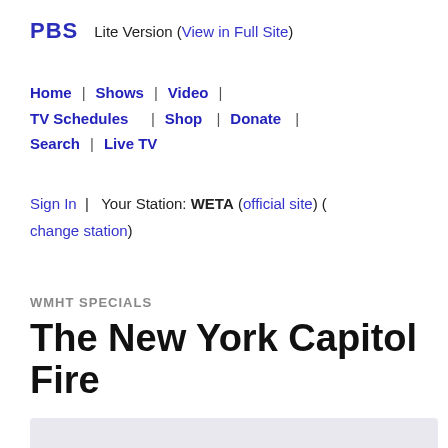PBS  Lite Version (View in Full Site)
Home | Shows | Video | TV Schedules | Shop | Donate | Search | Live TV
Sign In | Your Station: WETA (official site) (change station)
WMHT SPECIALS
The New York Capitol Fire
Special | 37m 46s